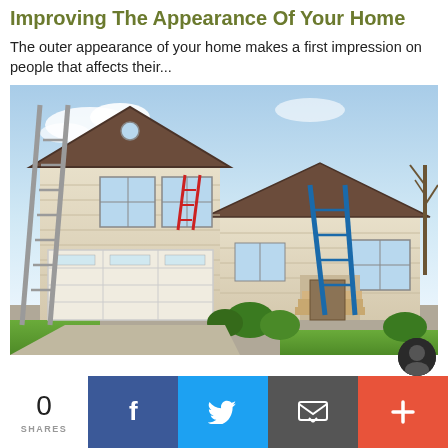Improving The Appearance Of Your Home
The outer appearance of your home makes a first impression on people that affects their...
[Figure (photo): Exterior of a suburban two-story house with beige siding being worked on. A gray/silver ladder is leaning on the left side of the house, and a blue ladder leans against the right side near a wooden staircase. A small red ladder is visible near an upper window. The house has a large white garage door, brown shingled roofs, and landscaping in front. Blue sky with light clouds in background.]
0
SHARES